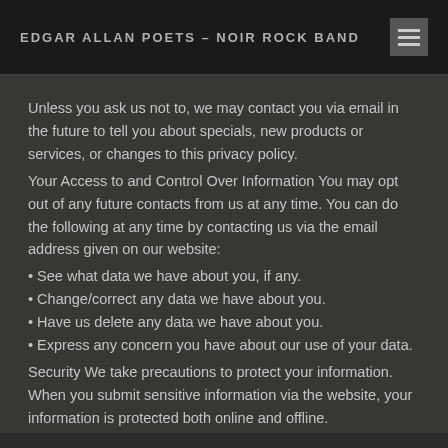EDGAR ALLAN POETS – NOIR ROCK BAND
Unless you ask us not to, we may contact you via email in the future to tell you about specials, new products or services, or changes to this privacy policy.
Your Access to and Control Over Information You may opt out of any future contacts from us at any time. You can do the following at any time by contacting us via the email address given on our website:
• See what data we have about you, if any.
• Change/correct any data we have about you.
• Have us delete any data we have about you.
• Express any concern you have about our use of your data.
Security We take precautions to protect your information. When you submit sensitive information via the website, your information is protected both online and offline.
Wherever we collect sensitive information (such as credit card